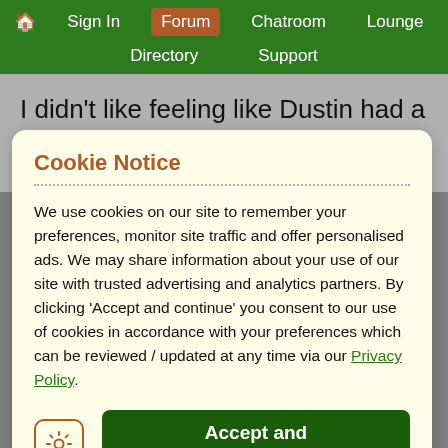🏠 Sign In | Forum | Chatroom | Lounge | Directory | Support
I didn't like feeling like Dustin had a hold over her, especially since he took her virginity very
Cookie Notice
We use cookies on our site to remember your preferences, monitor site traffic and offer personalised ads. We may share information about your use of our site with trusted advertising and analytics partners. By clicking 'Accept and continue' you consent to our use of cookies in accordance with your preferences which can be reviewed / updated at any time via our Privacy Policy.
Accept and continue